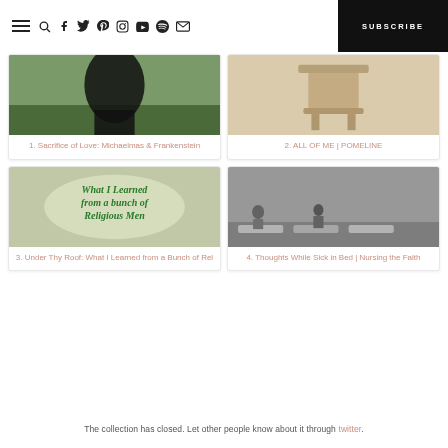Navigation bar with hamburger menu, social icons, and SUBSCRIBE button
[Figure (photo): Card 1: Photo of person outdoors on green grass. Title: 1. Sacrifice of Love: Michaelmas & Frankenstein]
[Figure (photo): Card 2: Photo of wooden stool/furniture. Title: 2. ALL OF ME | POMELINE]
[Figure (photo): Card 3: Illustrated/text image 'What I Learned from a bunch of Religious Men' on green background. Title: 3. Under Thy Roof: What I Learned from a Bunch of Rel]
[Figure (photo): Card 4: Black and white photo of people lying on mats/beds in a room. Title: 4. Thoughts While Sick in Bed | Nursing the Faith]
The collection has closed. Let other people know about it through twitter.